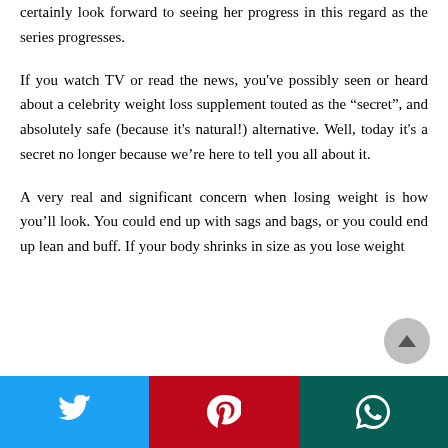certainly look forward to seeing her progress in this regard as the series progresses.
If you watch TV or read the news, you've possibly seen or heard about a celebrity weight loss supplement touted as the “secret”, and absolutely safe (because it's natural!) alternative. Well, today it's a secret no longer because we're here to tell you all about it.
A very real and significant concern when losing weight is how you'll look. You could end up with sags and bags, or you could end up lean and buff. If your body shrinks in size as you lose weight